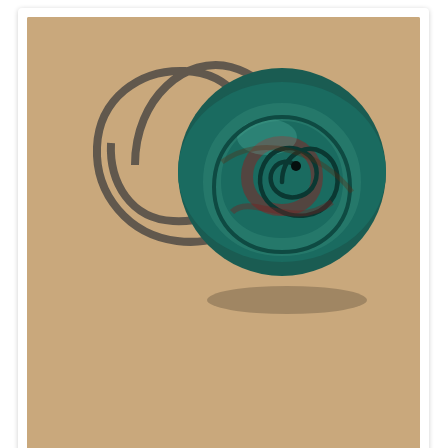[Figure (photo): Photo of a teal/dark marbled clay spiral stamp next to two spiral ink prints on brown kraft paper background. The clay stamp is a coiled spiral shape with teal and dark red marbling. Two stamped spiral imprints in dark ink are visible on the kraft paper.]
[Figure (photo): Partial photo below showing a yellow star-shaped stamp/cutter and a dark circular stamp imprint on brown kraft paper.]